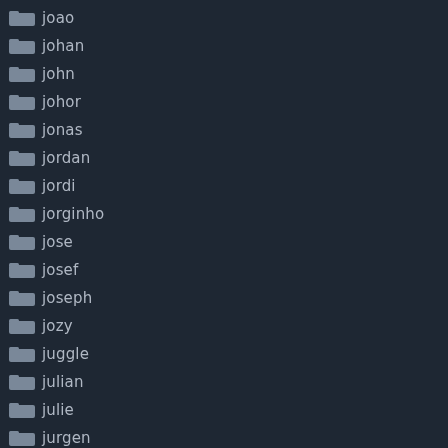joao
johan
john
johor
jonas
jordan
jordi
jorginho
jose
josef
joseph
jozy
juggle
julian
julie
jurgen
just
juventus